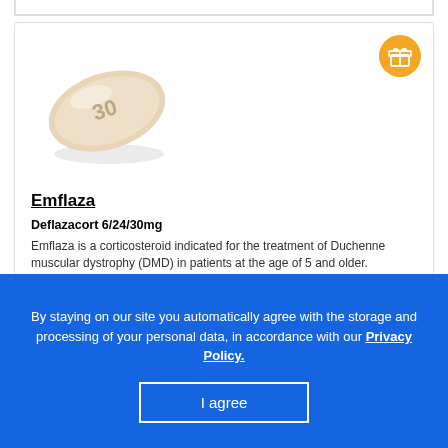[Figure (photo): Oval white pill with '30' imprinted on it (Emflaza tablet)]
Emflaza
Deflazacort 6/24/30mg
Emflaza is a corticosteroid indicated for the treatment of Duchenne muscular dystrophy (DMD) in patients at the age of 5 and older.
More Info
$ 0.72
BUY ONLINE!
[Figure (photo): Blue capsule pill with 'PRX-2' text on it]
By staying on our site you automatically agree with the storage and processing of your personal data, in accordance with our Privacy Policy.
I agree